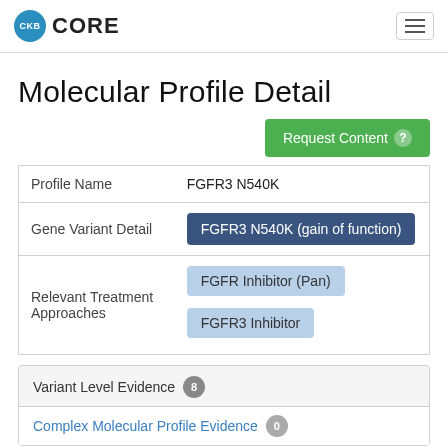CKB CORE
Molecular Profile Detail
| Field | Value |
| --- | --- |
| Profile Name | FGFR3 N540K |
| Gene Variant Detail | FGFR3 N540K (gain of function) |
| Relevant Treatment Approaches | FGFR Inhibitor (Pan)
FGFR3 Inhibitor |
Variant Level Evidence 8
Complex Molecular Profile Evidence 0